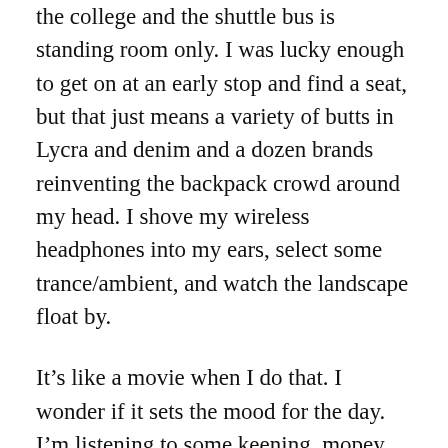the college and the shuttle bus is standing room only. I was lucky enough to get on at an early stop and find a seat, but that just means a variety of butts in Lycra and denim and a dozen brands reinventing the backpack crowd around my head. I shove my wireless headphones into my ears, select some trance/ambient, and watch the landscape float by.
It’s like a movie when I do that. I wonder if it sets the mood for the day. I’m listening to some keening, mopey Scandinavian band that sounds like what I imagine heroin feels like: comfortable, slow, soporific. I wonder if I should